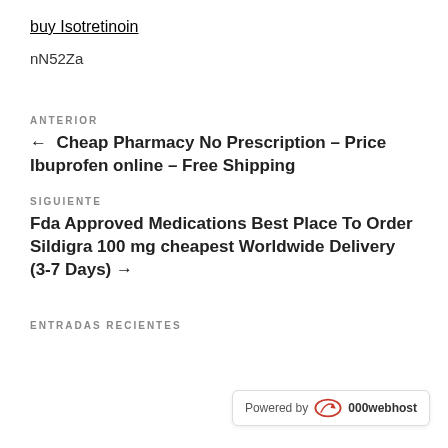buy Isotretinoin
nN52Za
ANTERIOR
← Cheap Pharmacy No Prescription – Price Ibuprofen online – Free Shipping
SIGUIENTE
Fda Approved Medications Best Place To Order Sildigra 100 mg cheapest Worldwide Delivery (3-7 Days) →
ENTRADAS RECIENTES